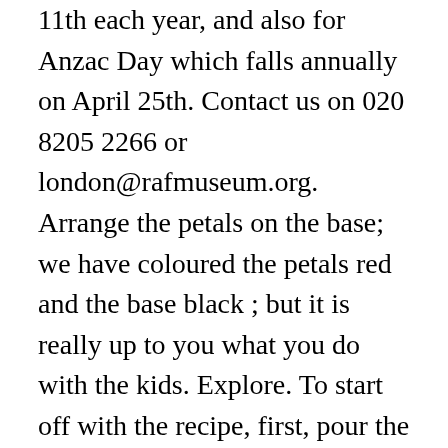11th each year, and also for Anzac Day which falls annually on April 25th. Contact us on 020 8205 2266 or london@rafmuseum.org. Arrange the petals on the base; we have coloured the petals red and the base black ; but it is really up to you what you do with the kids. Explore. To start off with the recipe, first, pour the poppy seeds into a bottle through a funnel to avoid spillage. If you wanted a few more poppy ideas, and perhaps some decorations, then do check out these ideas as well. Alternatively, you can send your image or poppy via post to RAF Museum Remembrance, Grahame Park Way, London NW9 5LL. May 25, 2015 - Poppies are normally a Memorial Day tradition, but these easy fabric flowers from DIY Network are a